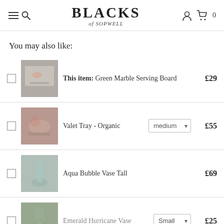BLACKS of SOPWELL
You may also like:
This item: Green Marble Serving Board £29
Valet Tray - Organic medium £55
Aqua Bubble Vase Tall £69
Emerald Hurricane Vase Small £25